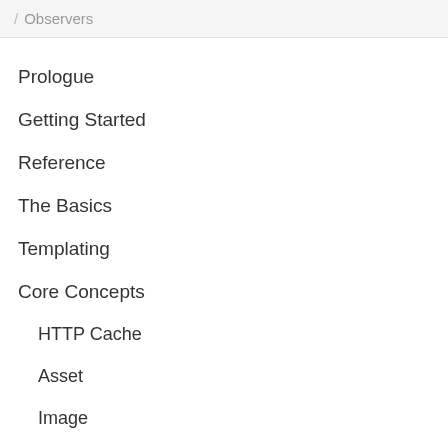/ Observers
Prologue
Getting Started
Reference
The Basics
Templating
Core Concepts
HTTP Cache
Asset
Image
Models